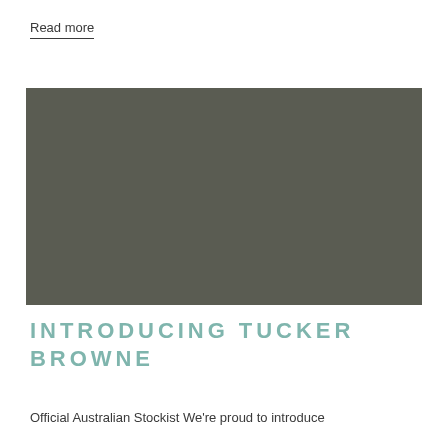Read more
[Figure (photo): Large rectangular image placeholder filled with muted dark olive/grey color]
INTRODUCING TUCKER BROWNE
Official Australian Stockist We're proud to introduce